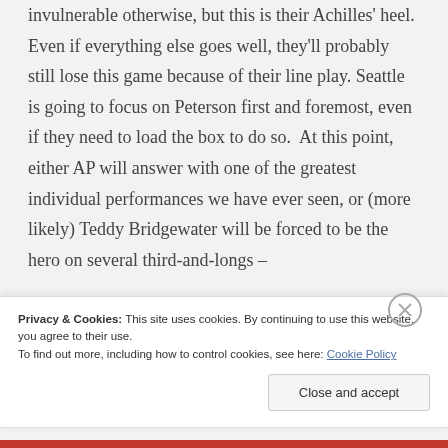invulnerable otherwise, but this is their Achilles' heel. Even if everything else goes well, they'll probably still lose this game because of their line play. Seattle is going to focus on Peterson first and foremost, even if they need to load the box to do so. At this point, either AP will answer with one of the greatest individual performances we have ever seen, or (more likely) Teddy Bridgewater will be forced to be the hero on several third-and-longs –
Privacy & Cookies: This site uses cookies. By continuing to use this website, you agree to their use.
To find out more, including how to control cookies, see here: Cookie Policy
Close and accept